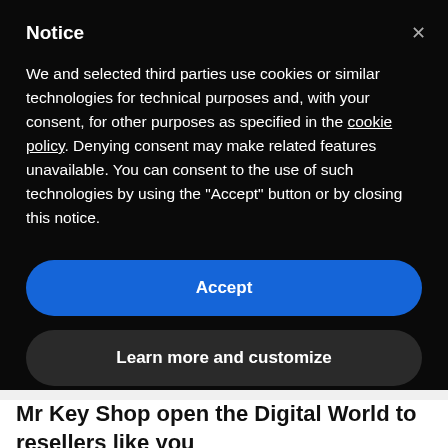Notice
We and selected third parties use cookies or similar technologies for technical purposes and, with your consent, for other purposes as specified in the cookie policy. Denying consent may make related features unavailable. You can consent to the use of such technologies by using the "Accept" button or by closing this notice.
Accept
Learn more and customize
Free English-speaking Customer Support
Mr Key Shop open the Digital World to resellers like you